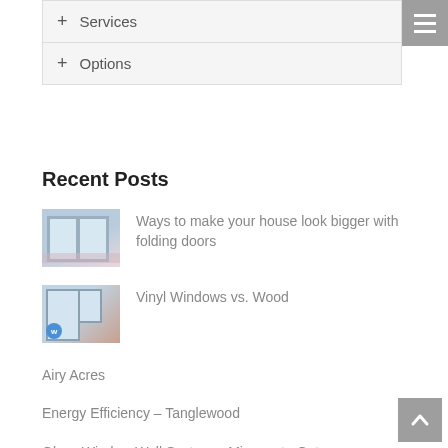+ Services
+ Options
Recent Posts
[Figure (photo): Thumbnail photo of folding/bifold doors in a room]
Ways to make your house look bigger with folding doors
[Figure (photo): Thumbnail photo of vinyl or glass windows]
Vinyl Windows vs. Wood
Airy Acres
Energy Efficiency – Tanglewood
Glass Window Wall System – Minnesota Get